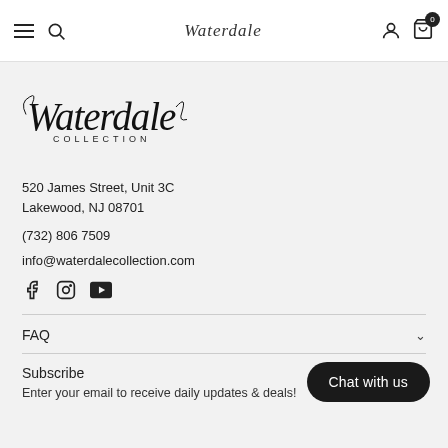Waterdale Collection — navigation bar with hamburger menu, search, logo, user icon, cart (0)
[Figure (logo): Waterdale Collection cursive and block letter logo]
520 James Street, Unit 3C
Lakewood, NJ 08701
(732) 806 7509
info@waterdalecollection.com
[Figure (other): Social media icons: Facebook, Instagram, YouTube]
FAQ
Subscribe
Enter your email to receive daily updates & deals!